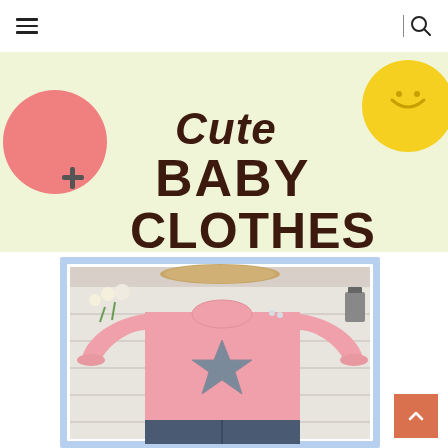Navigation bar with hamburger menu and search icon
[Figure (photo): Promotional banner for cute baby clothes with decorative shapes (pink circle, yellow smiley, plus sign) on light yellow background, text reading 'Cute BABY CLOTHES' in dark brown bold font, followed by a photo of a pink long-sleeve baby top with a gray star patch design laid flat, with dark navy pants partially visible below, flowers and accessories in background]